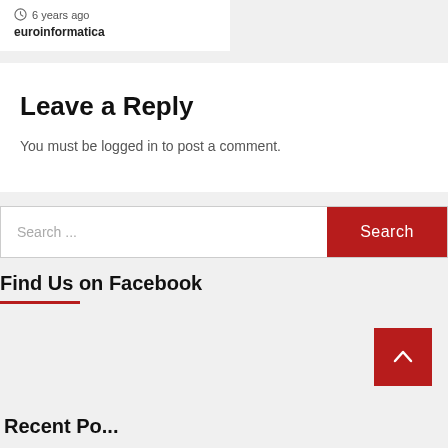6 years ago
euroinformatica
Leave a Reply
You must be logged in to post a comment.
Search ...
Find Us on Facebook
Recent Po...